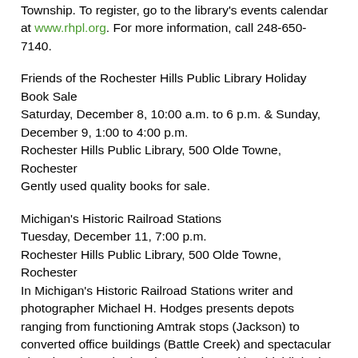Township. To register, go to the library's events calendar at www.rhpl.org. For more information, call 248-650-7140.
Friends of the Rochester Hills Public Library Holiday Book Sale Saturday, December 8, 10:00 a.m. to 6 p.m. & Sunday, December 9, 1:00 to 4:00 p.m. Rochester Hills Public Library, 500 Olde Towne, Rochester Gently used quality books for sale.
Michigan's Historic Railroad Stations Tuesday, December 11, 7:00 p.m. Rochester Hills Public Library, 500 Olde Towne, Rochester In Michigan's Historic Railroad Stations writer and photographer Michael H. Hodges presents depots ranging from functioning Amtrak stops (Jackson) to converted office buildings (Battle Creek) and spectacular abandoned wrecks (Saginaw and Detroit) to highlight the beauty of these iconic structures and remind readers of the key role architecture and historic preservation play in establishing an area's sense of place. To register, go to http://calendar.rhpl.org or call 248-656-2900.